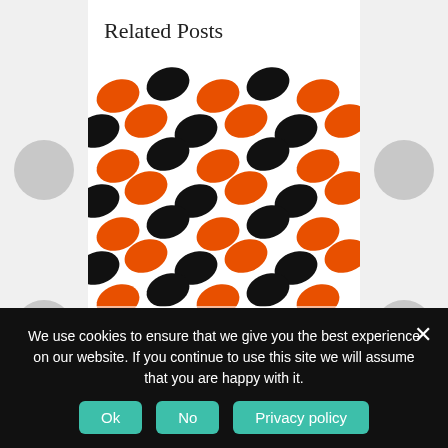Related Posts
[Figure (illustration): Orange and black football/sports pattern on white background — repeating diagonal rows of orange and black footballs or shields]
Orange and Black Football Borders
[Figure (illustration): Blue and yellow football pattern on white background — repeating rows of blue and yellow american footballs]
We use cookies to ensure that we give you the best experience on our website. If you continue to use this site we will assume that you are happy with it.